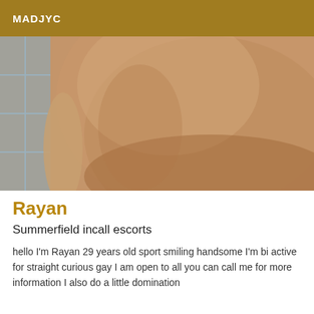MADJYC
[Figure (photo): Close-up photo of a person's bare torso and chest, taken in a bathroom with blue/grey tiles visible on the left side.]
Rayan
Summerfield incall escorts
hello I'm Rayan 29 years old sport smiling handsome I'm bi active for straight curious gay I am open to all you can call me for more information I also do a little domination